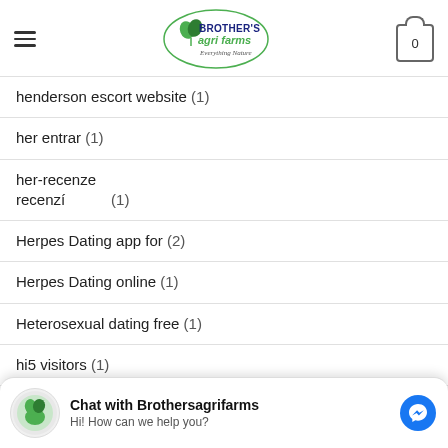Brother's Agri Farms - Everything Nature
henderson escort website (1)
her entrar (1)
her-recenze recenzí (1)
Herpes Dating app for (2)
Herpes Dating online (1)
Heterosexual dating free (1)
hi5 visitors (1)
hialeah the escort (1)
[Figure (screenshot): Chat widget for Brothersagrifarms with Facebook Messenger icon and 'Hi! How can we help you?' message]